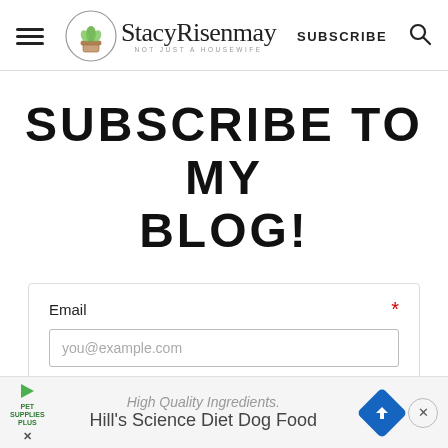StacyRisenmay — Not Just a Housewife | SUBSCRIBE
SUBSCRIBE TO MY BLOG!
Email *
you@example.com
Subscribe to my Email!
High Quality Ingredients. Hill's Science Diet Dog Food